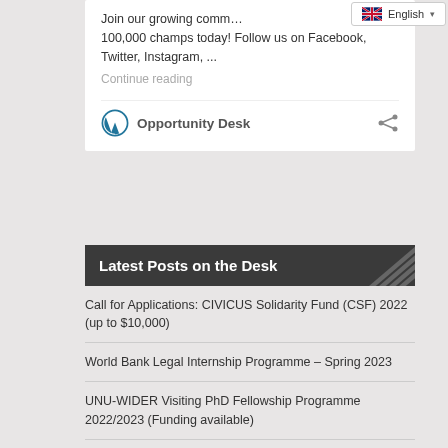Join our growing comm… 100,000 champs today! Follow us on Facebook, Twitter, Instagram, ...
Continue reading
Opportunity Desk
Latest Posts on the Desk
Call for Applications: CIVICUS Solidarity Fund (CSF) 2022 (up to $10,000)
World Bank Legal Internship Programme – Spring 2023
UNU-WIDER Visiting PhD Fellowship Programme 2022/2023 (Funding available)
Thomson Reuters Reporting on Illicit Finance in Africa 2022 for Zimbabwean journalists